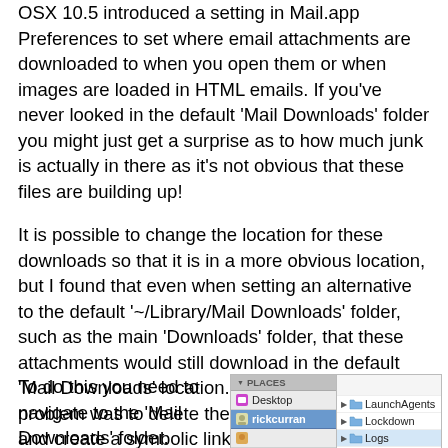OSX 10.5 introduced a setting in Mail.app Preferences to set where email attachments are downloaded to when you open them or when images are loaded in HTML emails. If you've never looked in the default 'Mail Downloads' folder you might just get a surprise as to how much junk is actually in there as it's not obvious that these files are building up!
It is possible to change the location for these downloads so that it is in a more obvious location, but I found that even when setting an alternative to the default '~/Library/Mail Downloads' folder, such as the main 'Downloads' folder, that these attachments would still download in the default 'Mail Downloads' location. The solution to this problem was to delete the 'Mail Downloads' folder and create a symbolic link to my preferred 'Downloads' folder.
To do this you need to navigate to the 'Mail Downloads' folder.
[Figure (screenshot): Mac OS X Finder sidebar showing PLACES section with Desktop, rickcurran (selected/highlighted), and another item partially visible. Right panel shows LaunchAgents, Lockdown, Logs, and Mail folders.]